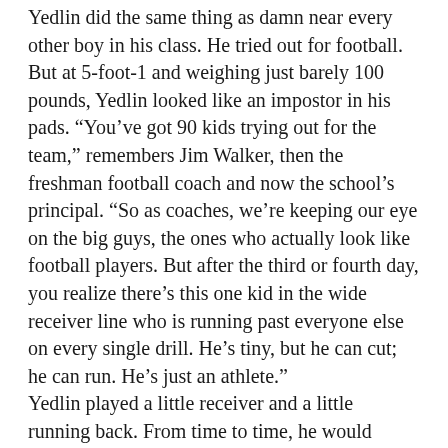Yedlin did the same thing as damn near every other boy in his class. He tried out for football. But at 5-foot-1 and weighing just barely 100 pounds, Yedlin looked like an impostor in his pads. “You’ve got 90 kids trying out for the team,” remembers Jim Walker, then the freshman football coach and now the school’s principal. “So as coaches, we’re keeping our eye on the big guys, the ones who actually look like football players. But after the third or fourth day, you realize there’s this one kid in the wide receiver line who is running past everyone else on every single drill. He’s tiny, but he can cut; he can run. He’s just an athlete.”
Yedlin played a little receiver and a little running back. From time to time, he would outrun the other 21 players on his way to the end zone. But also, from time to time he would run routes across the middle. Those were less pretty. “I got lit up,” Yedlin says. “More than once. Every team has that one kid the other team looks at and thinks they can just